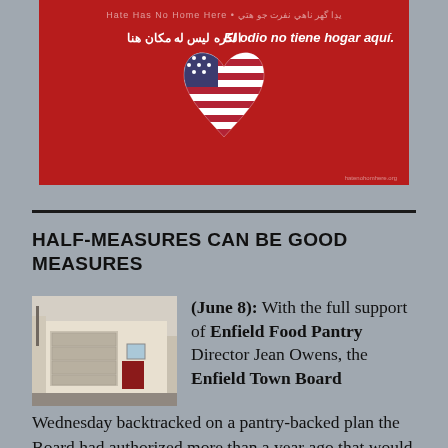[Figure (illustration): Red banner with multilingual 'Hate has no home here' message in Arabic and Spanish, with American flag heart symbol in the center]
HALF-MEASURES CAN BE GOOD MEASURES
[Figure (photo): Black and white photo of a small building with a garage door and a red door]
(June 8): With the full support of Enfield Food Pantry Director Jean Owens, the Enfield Town Board Wednesday backtracked on a pantry-backed plan the Board had authorized more than a year ago that would have replaced the uneven,